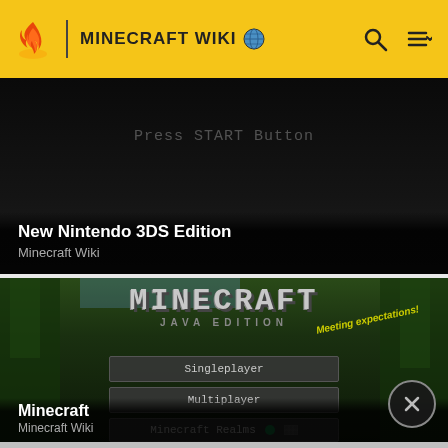MINECRAFT WIKI
New Nintendo 3DS Edition
Minecraft Wiki
Press START Button
[Figure (screenshot): Minecraft Java Edition title screen showing logo with 'JAVA EDITION' subtitle, 'Meeting expectations!' tagline, and menu buttons: Singleplayer, Multiplayer, Minecraft Realms, with lush green jungle biome background]
Minecraft
Minecraft Wiki